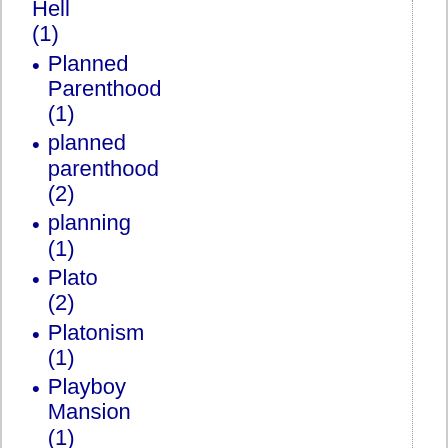Hell (1)
Planned Parenthood (1)
planned parenthood (2)
planning (1)
Plato (2)
Platonism (1)
Playboy Mansion (1)
Playboy Philosophy (1)
playgrounds (1)
pluralism (1)
plutocracy